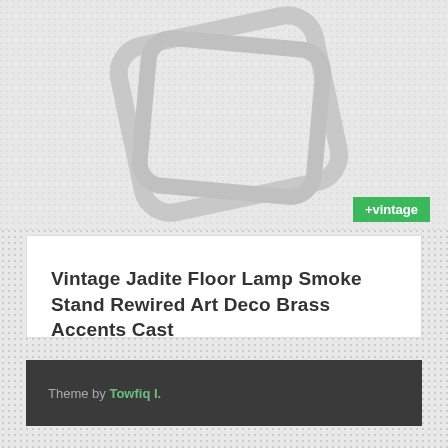[Figure (illustration): Two overlapping rounded rectangles in light gray, rotated, forming a decorative image placeholder graphic]
+vintage
Vintage Jadite Floor Lamp Smoke Stand Rewired Art Deco Brass Accents Cast
Beautiful rewired Art Deco floor lamp. The jadite features are stunning. Could use a little more TLC if you want the brass to pop. We used twisted cloth wire with...
Theme by Towfiq I.